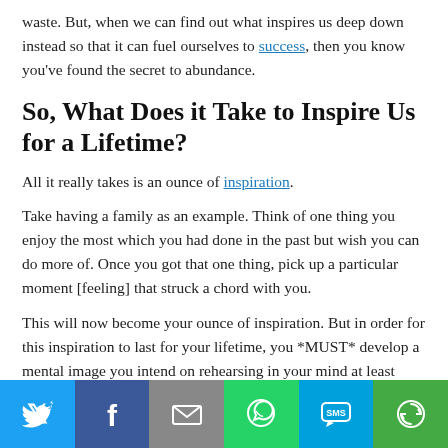waste. But, when we can find out what inspires us deep down instead so that it can fuel ourselves to success, then you know you've found the secret to abundance.
So, What Does it Take to Inspire Us for a Lifetime?
All it really takes is an ounce of inspiration.
Take having a family as an example. Think of one thing you enjoy the most which you had done in the past but wish you can do more of. Once you got that one thing, pick up a particular moment [feeling] that struck a chord with you.
This will now become your ounce of inspiration. But in order for this inspiration to last for your lifetime, you *MUST* develop a mental image you intend on rehearsing in your mind at least once a day. Because you're focusing in on a feeling, you start to trigger your subconscious memory.
[Figure (infographic): Social sharing bar with six buttons: Twitter (blue bird icon), Facebook (blue f icon), Email (gray envelope icon), WhatsApp (green phone icon), SMS (blue SMS bubble icon), More (green circular arrow icon)]